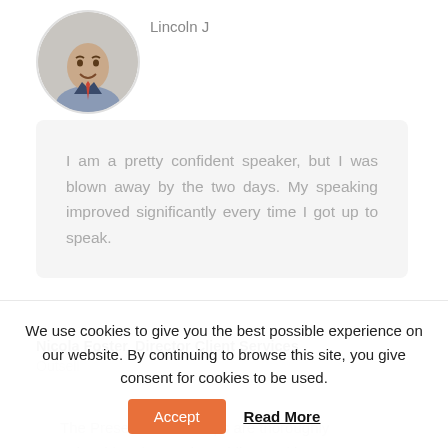[Figure (photo): Circular profile photo of a young man smiling, wearing a suit, with a brick wall background]
Lincoln J
I am a pretty confident speaker, but I was blown away by the two days. My speaking improved significantly every time I got up to speak.
Nicola Foster, Director Client Services
Outsell
The Presence workshops are thoroughly enjoyable. They make public speaking more a pleasure than a
We use cookies to give you the best possible experience on our website. By continuing to browse this site, you give consent for cookies to be used.